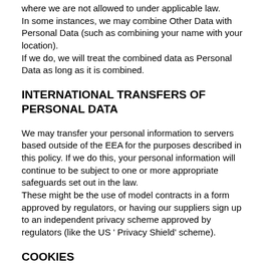where we are not allowed to under applicable law. In some instances, we may combine Other Data with Personal Data (such as combining your name with your location). If we do, we will treat the combined data as Personal Data as long as it is combined.
INTERNATIONAL TRANSFERS OF PERSONAL DATA
We may transfer your personal information to servers based outside of the EEA for the purposes described in this policy. If we do this, your personal information will continue to be subject to one or more appropriate safeguards set out in the law. These might be the use of model contracts in a form approved by regulators, or having our suppliers sign up to an independent privacy scheme approved by regulators (like the US ' Privacy Shield' scheme).
COOKIES
We and third-party website analytics provider (such as Google) use. Cookies are packets of information sent by our servers to your web browser and then sent back by the browser each time it accesses our servers. The cookies may contain a variety of information, such as the web pages you have accessed, session durations and IP addresses. Cookies are used for various purposes, such as to collect statistical